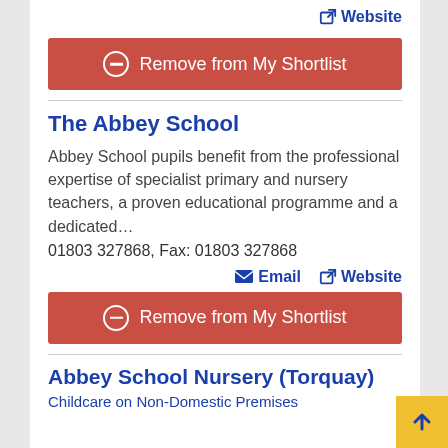Website
Remove from My Shortlist
The Abbey School
Abbey School pupils benefit from the professional expertise of specialist primary and nursery teachers, a proven educational programme and a dedicated…
01803 327868, Fax: 01803 327868
Email  Website
Remove from My Shortlist
Abbey School Nursery (Torquay)
Childcare on Non-Domestic Premises